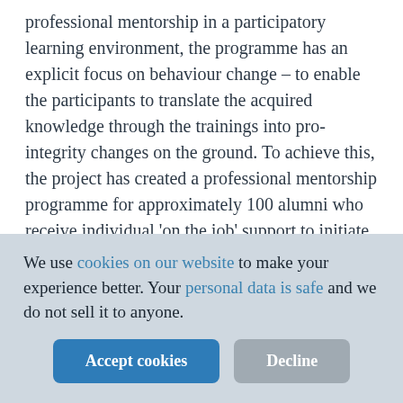professional mentorship in a participatory learning environment, the programme has an explicit focus on behaviour change – to enable the participants to translate the acquired knowledge through the trainings into pro-integrity changes on the ground. To achieve this, the project has created a professional mentorship programme for approximately 100 alumni who receive individual 'on the job' support to initiate integrity activities in their respective home organizations or area of work.
We use cookies on our website to make your experience better. Your personal data is safe and we do not sell it to anyone.